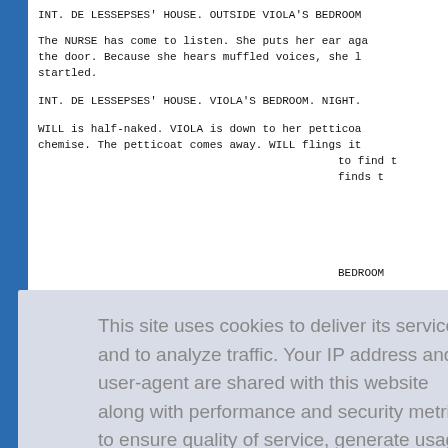INT. DE LESSEPSES' HOUSE. OUTSIDE VIOLA'S BEDROOM
The NURSE has come to listen. She puts her ear aga the door. Because she hears muffled voices, she l startled.
INT. DE LESSEPSES' HOUSE. VIOLA'S BEDROOM. NIGHT.
WILL is half-naked. VIOLA is down to her petticoa chemise. The petticoat comes away. WILL flings it to find t finds t
BEDROOM
de the b down, k r creak jsly wit HAMBERMAM. She i omes awa SE begin reaking SE. The
This site uses cookies to deliver its services and to analyze traffic. Your IP address and user-agent are shared with this website along with performance and security metrics to ensure quality of service, generate usage statistics, and to detect and address abuse.
Learn more
Got it!
INT. DE LESSEPSES' HOUSE. VIOLA'S BEDROOM. NIGHT.